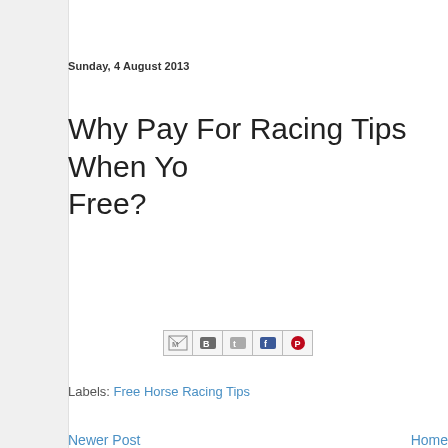Sunday, 4 August 2013
Why Pay For Racing Tips When You Can Get Them Free?
[Figure (other): Social sharing buttons: Email (M), BlogThis (B), Twitter (t), Facebook (f), Pinterest (circle P)]
Labels: Free Horse Racing Tips
Newer Post    Home